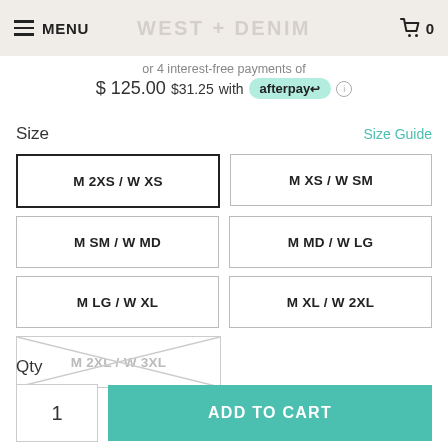MENU   WEST + DENIM   🛒 0
or 4 interest-free payments of
$ 125.00 $31.25 with afterpay ℹ
Size
Size Guide
M 2XS / W XS (selected)
M XS / W SM
M SM / W MD
M MD / W LG
M LG / W XL
M XL / W 2XL
M 2XL / W 3XL (unavailable)
Qty
1
ADD TO CART